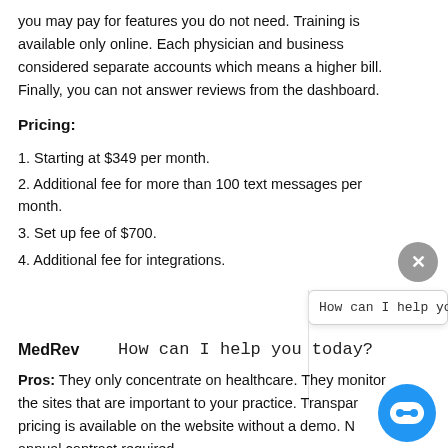you may pay for features you do not need. Training is available only online. Each physician and business considered separate accounts which means a higher bill. Finally, you can not answer reviews from the dashboard.
Pricing:
1. Starting at $349 per month.
2. Additional fee for more than 100 text messages per month.
3. Set up fee of $700.
4. Additional fee for integrations.
MedRev
How can I help you today?
Pros: They only concentrate on healthcare. They monitor the sites that are important to your practice. Transparent pricing is available on the website without a demo. No annual contract required.